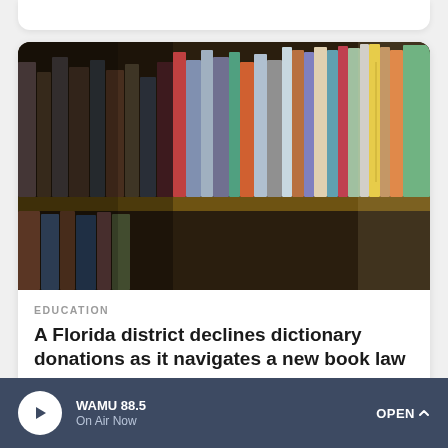[Figure (photo): Photograph of a library bookshelf with many colorful books standing upright, slightly blurred/bokeh effect, warm brown shelving visible]
EDUCATION
A Florida district declines dictionary donations as it navigates a new book law
[Figure (photo): Partially visible image at the bottom of the page showing what appears to be a room or hallway with figures]
WAMU 88.5 On Air Now OPEN